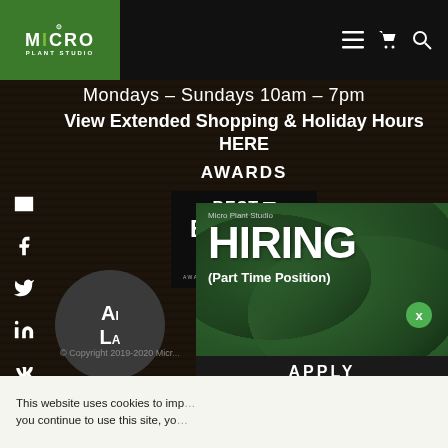Micro Plant Studio — Mondays – Sundays 10am – 7pm
View Extended Shopping & Holiday Hours HERE
AWARDS
[Figure (logo): Best of Boston 2020 award badge — white text on dark background reading BEST OF BOSTON 2020, awarded by Boston Magazine]
[Figure (infographic): Micro Plant Studio hiring advertisement showing green leaf background with text: Micro Plant Studio HIRING (Part Time Position) APPLY]
© Copyright 2019-2020 Micro...
This website uses cookies to imp... you continue to use this site, yo...